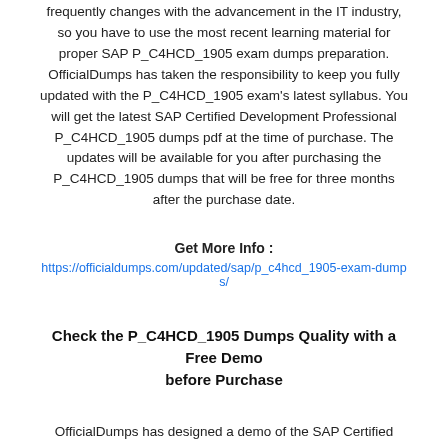frequently changes with the advancement in the IT industry, so you have to use the most recent learning material for proper SAP P_C4HCD_1905 exam dumps preparation. OfficialDumps has taken the responsibility to keep you fully updated with the P_C4HCD_1905 exam's latest syllabus. You will get the latest SAP Certified Development Professional P_C4HCD_1905 dumps pdf at the time of purchase. The updates will be available for you after purchasing the P_C4HCD_1905 dumps that will be free for three months after the purchase date.
Get More Info : https://officialdumps.com/updated/sap/p_c4hcd_1905-exam-dumps/
Check the P_C4HCD_1905 Dumps Quality with a Free Demo before Purchase
OfficialDumps has designed a demo of the SAP Certified Development Professional - SAP Commerce Cloud 1905 Developer